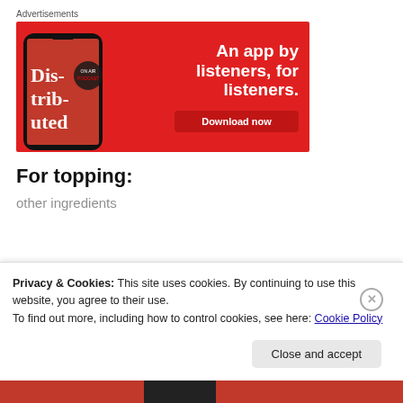Advertisements
[Figure (illustration): Red advertisement banner for a podcast app. Shows a smartphone with 'Dis-trib-uted' text on screen. Right side reads 'An app by listeners, for listeners.' with a 'Download now' button.]
For topping:
other ingredients (partially visible, cut off)
Privacy & Cookies: This site uses cookies. By continuing to use this website, you agree to their use.
To find out more, including how to control cookies, see here: Cookie Policy
Close and accept